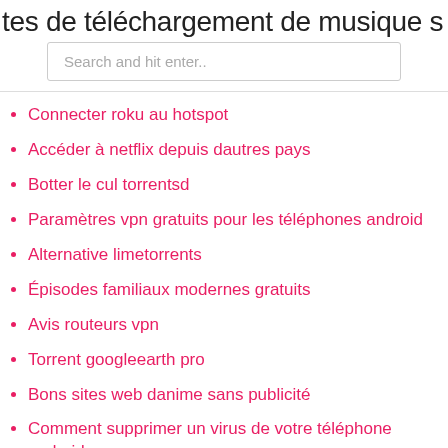tes de téléchargement de musique s
Search and hit enter..
Connecter roku au hotspot
Accéder à netflix depuis dautres pays
Botter le cul torrentsd
Paramètres vpn gratuits pour les téléphones android
Alternative limetorrents
Épisodes familiaux modernes gratuits
Avis routeurs vpn
Torrent googleearth pro
Bons sites web danime sans publicité
Comment supprimer un virus de votre téléphone android